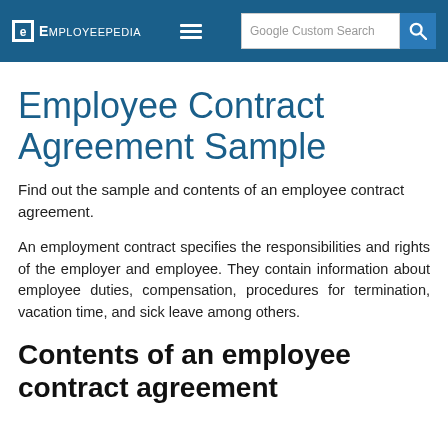Employeepedia | Google Custom Search
Employee Contract Agreement Sample
Find out the sample and contents of an employee contract agreement.
An employment contract specifies the responsibilities and rights of the employer and employee. They contain information about employee duties, compensation, procedures for termination, vacation time, and sick leave among others.
Contents of an employee contract agreement